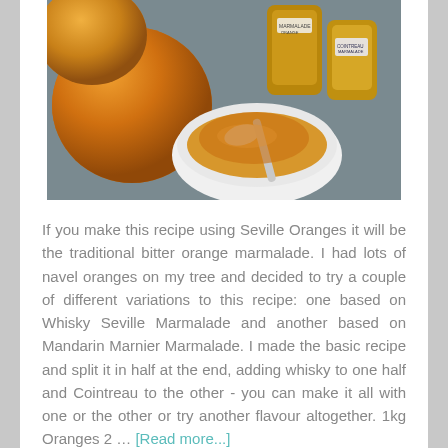[Figure (photo): Photo of oranges and jars of marmalade on a table, with a white bowl containing marmalade and a spoon]
If you make this recipe using Seville Oranges it will be the traditional bitter orange marmalade. I had lots of navel oranges on my tree and decided to try a couple of different variations to this recipe: one based on Whisky Seville Marmalade and another based on Mandarin Marnier Marmalade. I made the basic recipe and split it in half at the end, adding whisky to one half and Cointreau to the other - you can make it all with one or the other or try another flavour altogether. 1kg Oranges 2 … [Read more...]